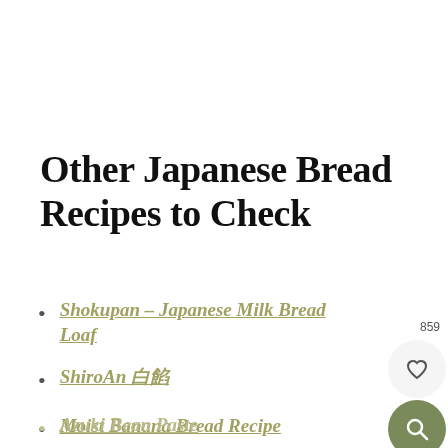Other Japanese Bread Recipes to Check
Shokupan – Japanese Milk Bread Loaf
ShiroAn 白餡
Moist Banana Bread Recipe
Hot Dog Buns with Japanese Milk Bread
Azuki Bean Paste